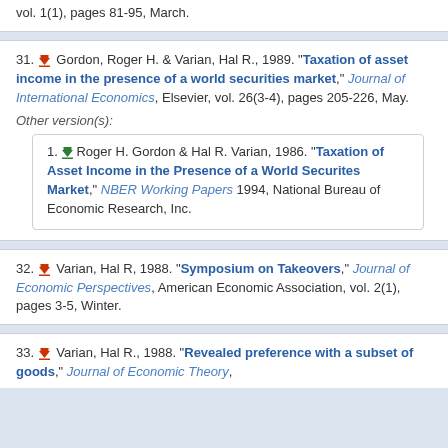vol. 1(1), pages 81-95, March.
31. Gordon, Roger H. & Varian, Hal R., 1989. "Taxation of asset income in the presence of a world securities market," Journal of International Economics, Elsevier, vol. 26(3-4), pages 205-226, May.
Other version(s):
1. Roger H. Gordon & Hal R. Varian, 1986. "Taxation of Asset Income in the Presence of a World Securites Market," NBER Working Papers 1994, National Bureau of Economic Research, Inc.
32. Varian, Hal R, 1988. "Symposium on Takeovers," Journal of Economic Perspectives, American Economic Association, vol. 2(1), pages 3-5, Winter.
33. Varian, Hal R., 1988. "Revealed preference with a subset of goods," Journal of Economic Theory,